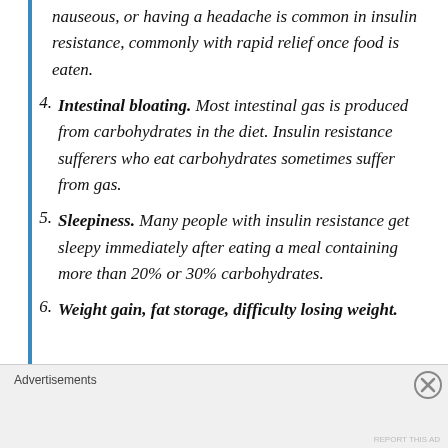nauseous, or having a headache is common in insulin resistance, commonly with rapid relief once food is eaten.
4. Intestinal bloating. Most intestinal gas is produced from carbohydrates in the diet. Insulin resistance sufferers who eat carbohydrates sometimes suffer from gas.
5. Sleepiness. Many people with insulin resistance get sleepy immediately after eating a meal containing more than 20% or 30% carbohydrates.
6. Weight gain, fat storage, difficulty losing weight.
Advertisements